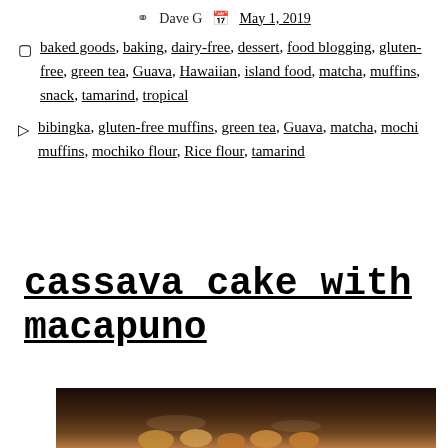Dave G   May 1, 2019
baked goods, baking, dairy-free, dessert, food blogging, gluten-free, green tea, Guava, Hawaiian, island food, matcha, muffins, snack, tamarind, tropical
bibingka, gluten-free muffins, green tea, Guava, matcha, mochi muffins, mochiko flour, Rice flour, tamarind
cassava cake with macapuno
[Figure (photo): Photo of cassava cake with macapuno, showing food items on a dark background]